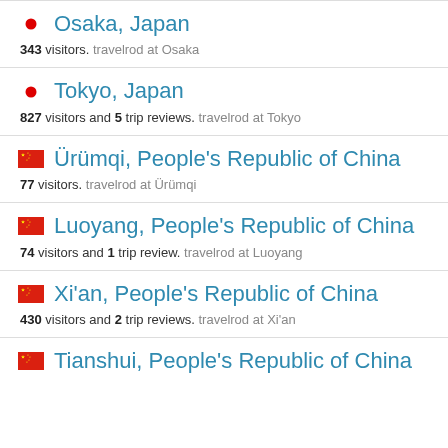Osaka, Japan — 343 visitors. travelrod at Osaka
Tokyo, Japan — 827 visitors and 5 trip reviews. travelrod at Tokyo
Ürümqi, People's Republic of China — 77 visitors. travelrod at Ürümqi
Luoyang, People's Republic of China — 74 visitors and 1 trip review. travelrod at Luoyang
Xi'an, People's Republic of China — 430 visitors and 2 trip reviews. travelrod at Xi'an
Tianshui, People's Republic of China